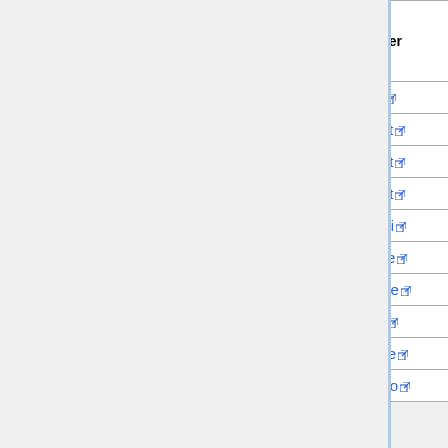| Site | Cluster | Number of nodes | Number of reservable disks per node |
| --- | --- | --- | --- |
| Grenoble | yeti | 4 | 3 |
| Lille | chiclet | 8 | 2 |
| Lille | chifflet | 8 | 3 |
| Lille | chifflot | 8 | 5 |
| Lyon | gemini | 2 | 4 |
| Nancy | grappe | 16 | 1 |
| Nancy | grimoire | 8 | 5 |
| Nancy | gros | 124 | 1 |
| Nancy | grouille | 2 | 1 |
| Rennes | parasilo | 27 | 5 |
Last generated from the Grid'5000 Reference API on 2022-06-07 (commit 5d4b87f3e6)